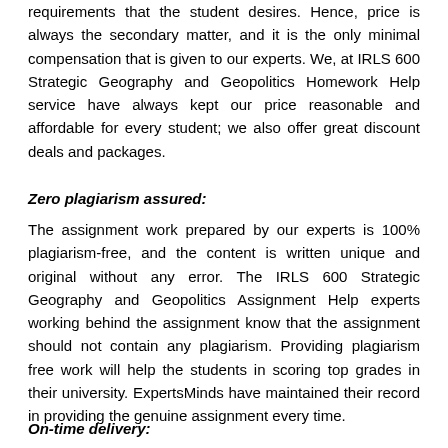requirements that the student desires. Hence, price is always the secondary matter, and it is the only minimal compensation that is given to our experts. We, at IRLS 600 Strategic Geography and Geopolitics Homework Help service have always kept our price reasonable and affordable for every student; we also offer great discount deals and packages.
Zero plagiarism assured:
The assignment work prepared by our experts is 100% plagiarism-free, and the content is written unique and original without any error. The IRLS 600 Strategic Geography and Geopolitics Assignment Help experts working behind the assignment know that the assignment should not contain any plagiarism. Providing plagiarism free work will help the students in scoring top grades in their university. ExpertsMinds have maintained their record in providing the genuine assignment every time.
On-time delivery: